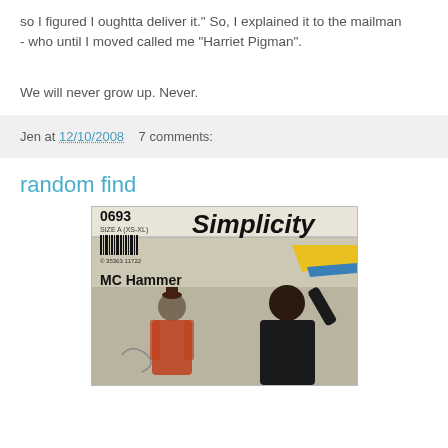so I figured I oughtta deliver it." So, I explained it to the mailman
- who until I moved called me "Harriet Pigman".
We will never grow up. Never.
Jen at 12/10/2008    7 comments:
random find
[Figure (photo): A Simplicity sewing pattern #0693, Size A (XS-XL), MC Hammer edition, showing two figures on the cover.]